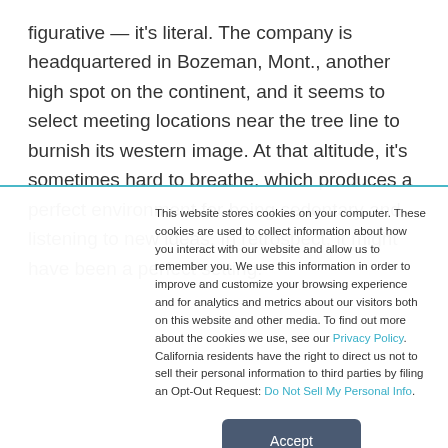figurative — it's literal. The company is headquartered in Bozeman, Mont., another high spot on the continent, and it seems to select meeting locations near the tree line to burnish its western image. At that altitude, it's sometimes hard to breathe, which produces a perfect environment for being sedentary and listening to new ideas. In retrospect, it might have been a perfect setting.
This website stores cookies on your computer. These cookies are used to collect information about how you interact with our website and allow us to remember you. We use this information in order to improve and customize your browsing experience and for analytics and metrics about our visitors both on this website and other media. To find out more about the cookies we use, see our Privacy Policy. California residents have the right to direct us not to sell their personal information to third parties by filing an Opt-Out Request: Do Not Sell My Personal Info.